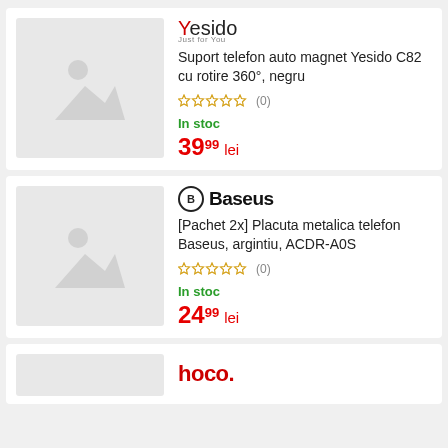[Figure (other): Product image placeholder for Yesido phone holder]
[Figure (logo): Yesido brand logo]
Suport telefon auto magnet Yesido C82 cu rotire 360°, negru
☆☆☆☆☆ (0)
In stoc
39⁹⁹ lei
[Figure (other): Product image placeholder for Baseus metal plate]
[Figure (logo): Baseus brand logo]
[Pachet 2x] Placuta metalica telefon Baseus, argintiu, ACDR-A0S
☆☆☆☆☆ (0)
In stoc
24⁹⁹ lei
[Figure (logo): hoco. brand logo]